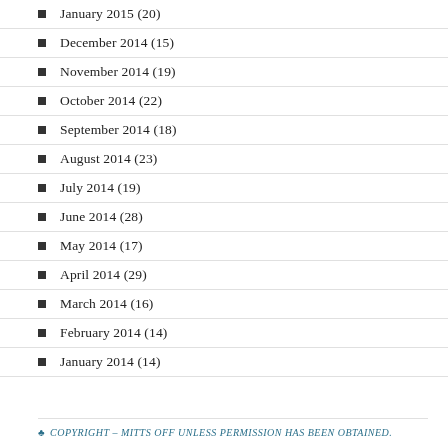January 2015 (20)
December 2014 (15)
November 2014 (19)
October 2014 (22)
September 2014 (18)
August 2014 (23)
July 2014 (19)
June 2014 (28)
May 2014 (17)
April 2014 (29)
March 2014 (16)
February 2014 (14)
January 2014 (14)
♣ COPYRIGHT – MITTS OFF UNLESS PERMISSION HAS BEEN OBTAINED.